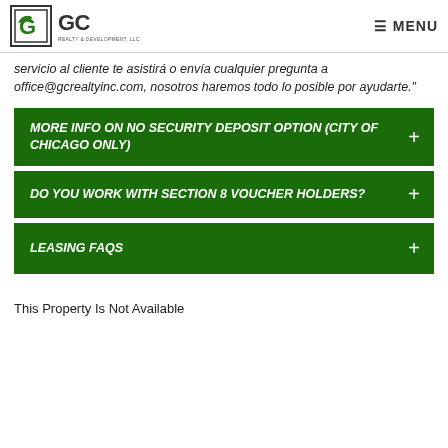GC REALTY & DEVELOPMENT, LLC — MENU
servicio al cliente te asistirá o envía cualquier pregunta a office@gcrealtyinc.com, nosotros haremos todo lo posible por ayudarte."
MORE INFO ON NO SECURITY DEPOSIT OPTION (CITY OF CHICAGO ONLY)
DO YOU WORK WITH SECTION 8 VOUCHER HOLDERS?
LEASING FAQS
This Property Is Not Available